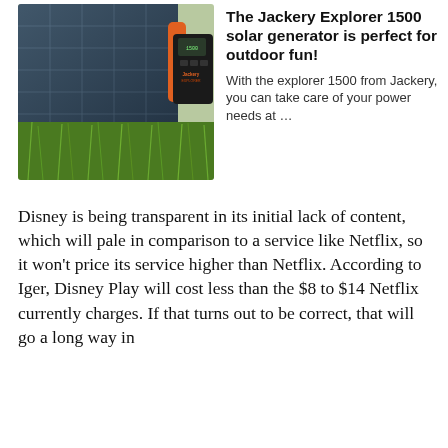[Figure (photo): Photo of a Jackery Explorer 1500 portable power station sitting on grass next to large solar panels]
The Jackery Explorer 1500 solar generator is perfect for outdoor fun!
With the explorer 1500 from Jackery, you can take care of your power needs at …
Disney is being transparent in its initial lack of content, which will pale in comparison to a service like Netflix, so it won't price its service higher than Netflix. According to Iger, Disney Play will cost less than the $8 to $14 Netflix currently charges. If that turns out to be correct, that will go a long way in